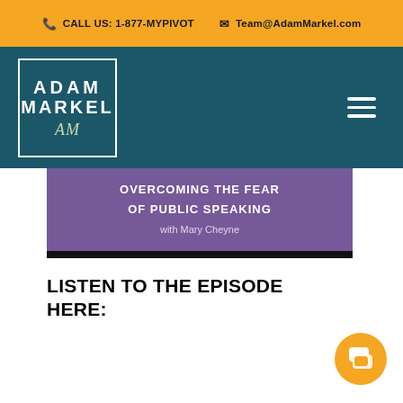CALL US: 1-877-MYPIVOT   Team@AdamMarkel.com
[Figure (logo): Adam Markel logo in white text inside a white border box on a teal background, with signature below the text]
[Figure (screenshot): Podcast episode image showing 'OVERCOMING THE FEAR OF PUBLIC SPEAKING with Mary Cheyne' on a purple/dark background]
LISTEN TO THE EPISODE HERE: